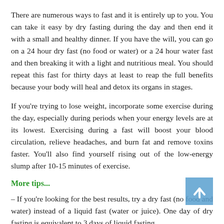There are numerous ways to fast and it is entirely up to you. You can take it easy by dry fasting during the day and then end it with a small and healthy dinner. If you have the will, you can go on a 24 hour dry fast (no food or water) or a 24 hour water fast and then breaking it with a light and nutritious meal. You should repeat this fast for thirty days at least to reap the full benefits because your body will heal and detox its organs in stages.
If you're trying to lose weight, incorporate some exercise during the day, especially during periods when your energy levels are at its lowest. Exercising during a fast will boost your blood circulation, relieve headaches, and burn fat and remove toxins faster. You'll also find yourself rising out of the low-energy slump after 10-15 minutes of exercise.
More tips...
– If you're looking for the best results, try a dry fast (no food and water) instead of a liquid fast (water or juice). One day of dry fasting is equivalent to 3 days of liquid fasting.
– Break your fast gently with healthy foods that are easy to